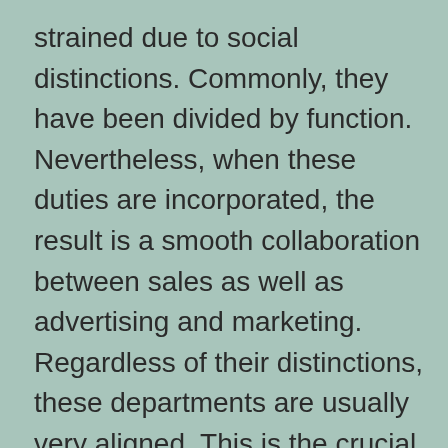strained due to social distinctions. Commonly, they have been divided by function. Nevertheless, when these duties are incorporated, the result is a smooth collaboration between sales as well as advertising and marketing. Regardless of their distinctions, these departments are usually very aligned. This is the crucial to success in any organization. As well as an effective business has an ideal fit. This is the vital to a successful connection between sales and also advertising.

The difference in between advertising and also